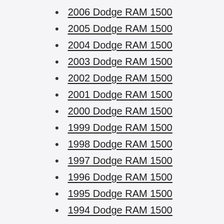2006 Dodge RAM 1500
2005 Dodge RAM 1500
2004 Dodge RAM 1500
2003 Dodge RAM 1500
2002 Dodge RAM 1500
2001 Dodge RAM 1500
2000 Dodge RAM 1500
1999 Dodge RAM 1500
1998 Dodge RAM 1500
1997 Dodge RAM 1500
1996 Dodge RAM 1500
1995 Dodge RAM 1500
1994 Dodge RAM 1500